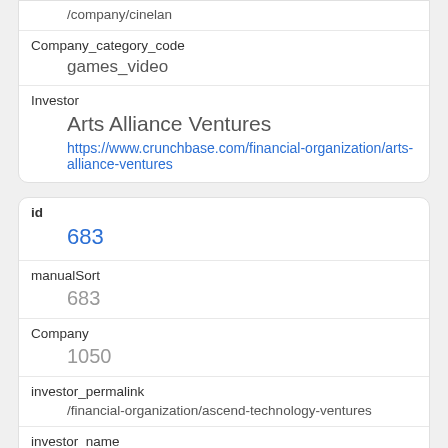/company/cinelan
Company_category_code
games_video
Investor
Arts Alliance Ventures
https://www.crunchbase.com/financial-organization/arts-alliance-ventures
id
683
manualSort
683
Company
1050
investor_permalink
/financial-organization/ascend-technology-ventures
investor_name
Ascend Technology Ventures
investor_category_code